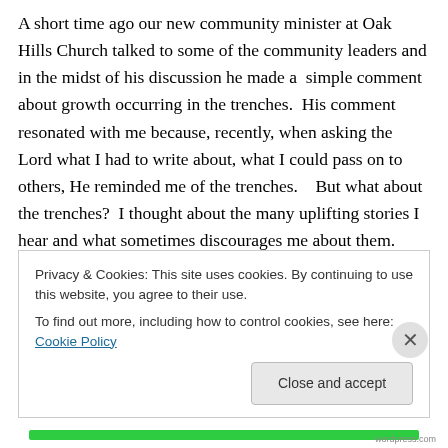A short time ago our new community minister at Oak Hills Church talked to some of the community leaders and in the midst of his discussion he made a  simple comment about growth occurring in the trenches.  His comment resonated with me because, recently, when asking the Lord what I had to write about, what I could pass on to others, He reminded me of the trenches.   But what about the trenches?  I thought about the many uplifting stories I hear and what sometimes discourages me about them.  Books, stories and testimonies often highlight the successes but gloss over the trenches.  We
Privacy & Cookies: This site uses cookies. By continuing to use this website, you agree to their use.
To find out more, including how to control cookies, see here: Cookie Policy
Close and accept